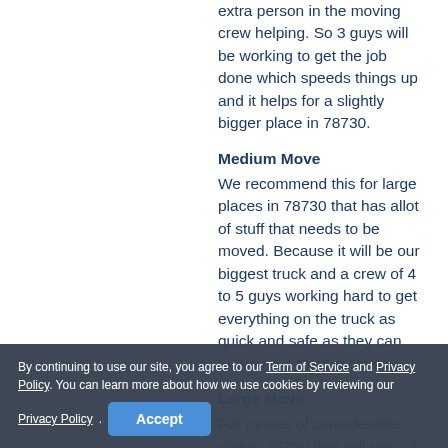extra person in the moving crew helping. So 3 guys will be working to get the job done which speeds things up and it helps for a slightly bigger place in 78730.
Medium Move
We recommend this for large places in 78730 that has allot of stuff that needs to be moved. Because it will be our biggest truck and a crew of 4 to 5 guys working hard to get everything on the truck as quick and safe as they can for you it is the best choice.
Large Move
For moves of considerable size in 78730 that will req... 3 trucks and packing and boxing services
By continuing to use our site, you agree to our Term of Service and Privacy Policy. You can learn more about how we use cookies by reviewing our Privacy Policy.